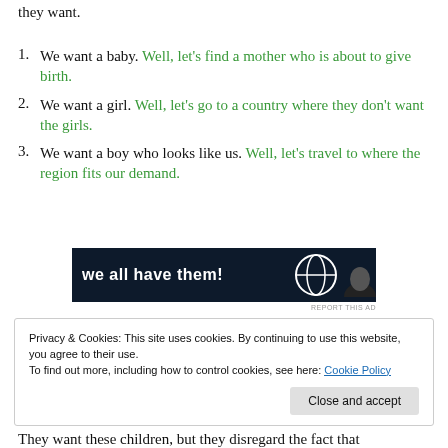they want.
We want a baby. Well, let's find a mother who is about to give birth.
We want a girl. Well, let's go to a country where they don't want the girls.
We want a boy who looks like us. Well, let's travel to where the region fits our demand.
[Figure (other): Dark advertisement banner with white bold text 'we all have them!' and a circular icon on the right]
REPORT THIS AD
Privacy & Cookies: This site uses cookies. By continuing to use this website, you agree to their use.
To find out more, including how to control cookies, see here: Cookie Policy
They want these children, but they disregard the fact that